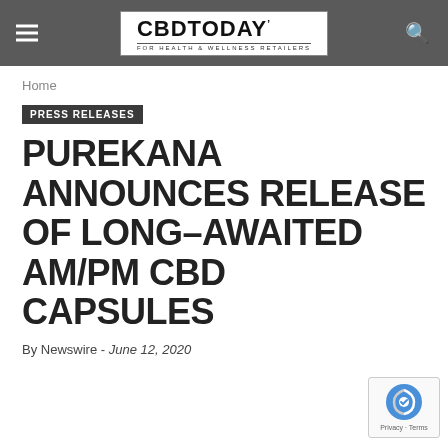CBD TODAY - FOR HEALTH & WELLNESS RETAILERS
Home
PRESS RELEASES
PUREKANA ANNOUNCES RELEASE OF LONG-AWAITED AM/PM CBD CAPSULES
By Newswire - June 12, 2020